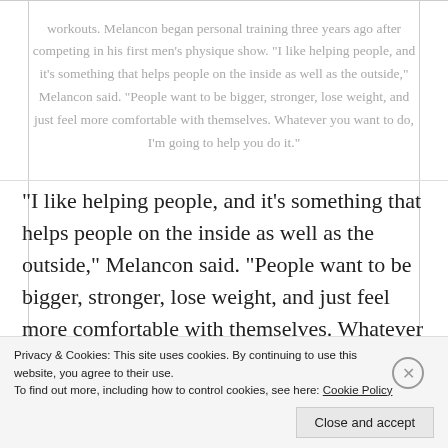workouts. Melancon began personal training three years ago after competing in his first men's physique show. "I like helping people, and it's something that helps people on the inside as well as the outside," Melancon said. "People want to be bigger, stronger, lose weight, and just feel more comfortable with themselves. Whatever you want to do, I'm going to help you do it."
“I like helping people, and it’s something that helps people on the inside as well as the outside,” Melancon said. “People want to be bigger, stronger, lose weight, and just feel more comfortable with themselves. Whatever you want to do, I’m going to help you do it.”
Privacy & Cookies: This site uses cookies. By continuing to use this website, you agree to their use.
To find out more, including how to control cookies, see here: Cookie Policy
Close and accept